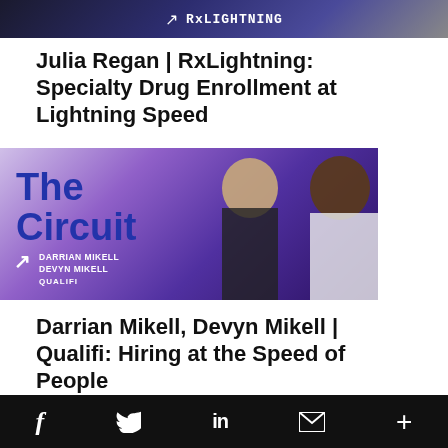[Figure (screenshot): Top image showing RxLightning branding with white text and arrow icon]
Julia Regan | RxLightning: Specialty Drug Enrollment at Lightning Speed
[Figure (screenshot): Video thumbnail for The Circuit featuring Darrian Mikell and Devyn Mikell of Qualifi, purple background with two men seated]
Darrian Mikell, Devyn Mikell | Qualifi: Hiring at the Speed of People
[Figure (screenshot): Partial bottom image with blue gradient]
f  Twitter  in  Email  +